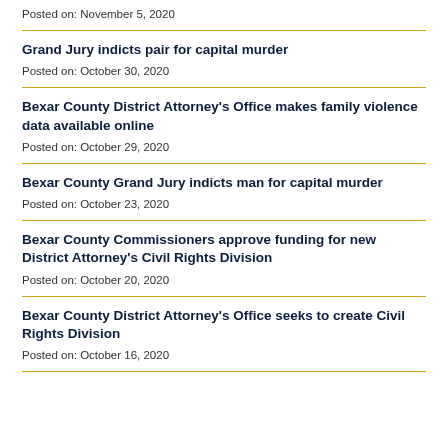Posted on: November 5, 2020
Grand Jury indicts pair for capital murder
Posted on: October 30, 2020
Bexar County District Attorney's Office makes family violence data available online
Posted on: October 29, 2020
Bexar County Grand Jury indicts man for capital murder
Posted on: October 23, 2020
Bexar County Commissioners approve funding for new District Attorney's Civil Rights Division
Posted on: October 20, 2020
Bexar County District Attorney's Office seeks to create Civil Rights Division
Posted on: October 16, 2020